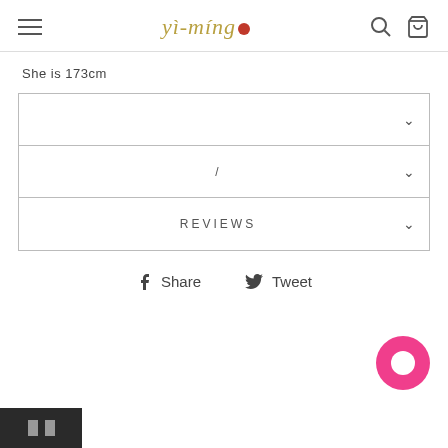yi-ming (logo with hamburger menu, search and cart icons)
She is 173cm
|  | ∨ |
| / | ∨ |
| REVIEWS | ∨ |
Share   Tweet
[Figure (other): Pink circular chat/support widget in bottom right corner]